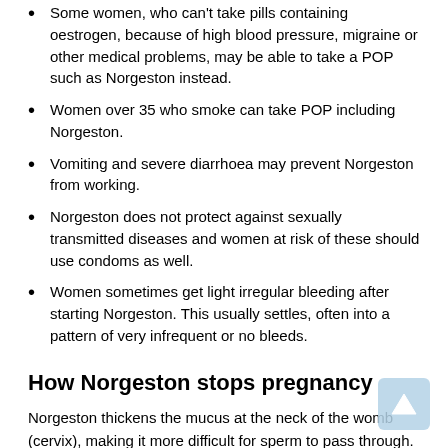Some women, who can't take pills containing oestrogen, because of high blood pressure, migraine or other medical problems, may be able to take a POP such as Norgeston instead.
Women over 35 who smoke can take POP including Norgeston.
Vomiting and severe diarrhoea may prevent Norgeston from working.
Norgeston does not protect against sexually transmitted diseases and women at risk of these should use condoms as well.
Women sometimes get light irregular bleeding after starting Norgeston. This usually settles, often into a pattern of very infrequent or no bleeds.
How Norgeston stops pregnancy
Norgeston thickens the mucus at the neck of the womb (cervix), making it more difficult for sperm to pass through. There are also changes to the lining of the womb making it thinner and so less easy for a fertilised egg to be implanted. In around 60% of women,